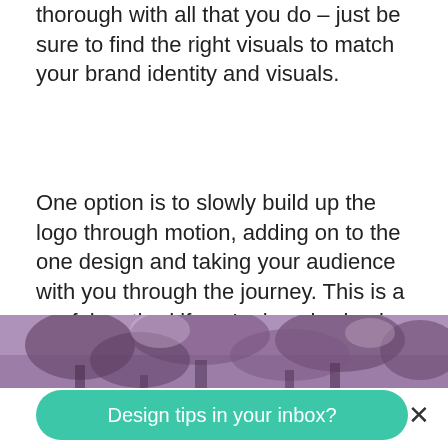thorough with all that you do – just be sure to find the right visuals to match your brand identity and visuals.
One option is to slowly build up the logo through motion, adding on to the one design and taking your audience with you through the journey. This is a useful method if you're logo is simple or you don't want to add any elements to your logo.
[Figure (photo): A purple/mauve tinted photo of a forest with trees visible against a lighter sky background]
Design tips in your inbox?